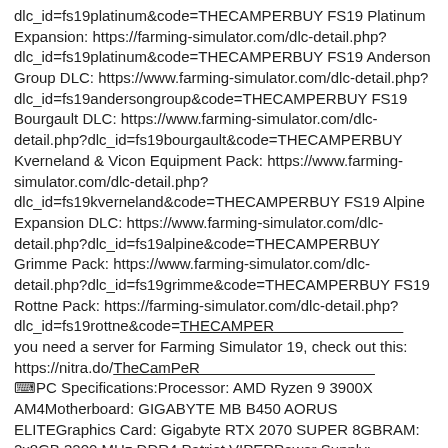dlc_id=fs19platinum&code=THECAMPER​BUY FS19 Platinum Expansion: https://farming-simulator.com/dlc-detail.php?dlc_id=fs19platinum&code=THECAMPER​BUY FS19 Anderson Group DLC: https://www.farming-simulator.com/dlc-detail.php?dlc_id=fs19andersongroup&code=THECAMPER​BUY FS19 Bourgault DLC: https://www.farming-simulator.com/dlc-detail.php?dlc_id=fs19bourgault&code=THECAMPER​BUY Kverneland & Vicon Equipment Pack: https://www.farming-simulator.com/dlc-detail.php?dlc_id=fs19kverneland&code=THECAMPER​BUY FS19 Alpine Expansion DLC: https://www.farming-simulator.com/dlc-detail.php?dlc_id=fs19alpine&code=THECAMPER​BUY Grimme Pack: https://www.farming-simulator.com/dlc-detail.php?dlc_id=fs19grimme&code=THECAMPER​BUY FS19 Rottne Pack: https://farming-simulator.com/dlc-detail.php?dlc_id=fs19rottne&code=THECAMPER
you need a server for Farming Simulator 19, check out this: https://nitra.do/TheCamPeR
⌨PC Specifications:Processor: AMD Ryzen 9 3900X AM4Motherboard: GIGABYTE MB B450 AORUS ELITEGraphics Card: Gigabyte RTX 2070 SUPER 8GBRAM: 2x8GB 3200 MHz DDR4 Patriot VIPERPower Supply: Thermaltake RGB 650WSSD-1: Samsung 970 EVO NVMe M.2 1TBSSD-2: Intel 660P M2 NVME